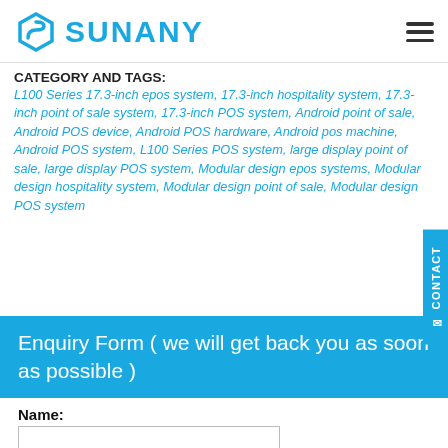SUNANY
CATEGORY AND TAGS:
L100 Series 17.3-inch epos system, 17.3-inch hospitality system, 17.3-inch point of sale system, 17.3-inch POS system, Android point of sale, Android POS device, Android POS hardware, Android pos machine, Android POS system, L100 Series POS system, large display point of sale, large display POS system, Modular design epos systems, Modular design hospitality system, Modular design point of sale, Modular design POS system
Enquiry Form ( we will get back you as soon as possible )
Name: